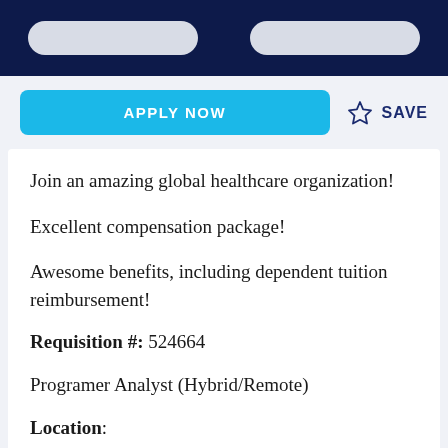APPLY NOW
SAVE
Join an amazing global healthcare organization!
Excellent compensation package!
Awesome benefits, including dependent tuition reimbursement!
Requisition #: 524664
Programer Analyst (Hybrid/Remote)
Location: